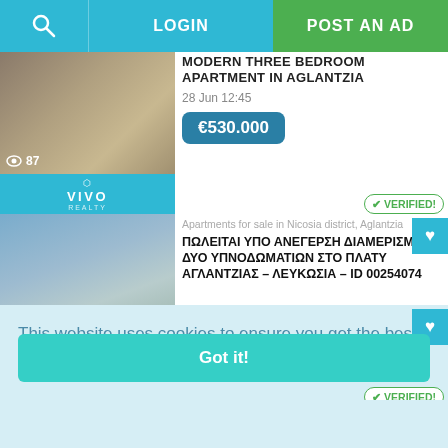LOGIN | POST AN AD
MODERN THREE BEDROOM APARTMENT IN AGLANTZIA
28 Jun 12:45
€530.000
[Figure (logo): VIVO REALTY logo on cyan background]
VERIFIED!
Apartments for sale in Nicosia district, Aglantzia
ΠΩΛΕΙΤΑΙ ΥΠΟ ΑΝΕΓΕΡΣΗ ΔΙΑΜΕΡΙΣΜΑ ΔΥΟ ΥΠΝΟΔΩΜΑΤΙΩΝ ΣΤΟ ΠΛΑΤΥ ΑΓΛΑΝΤΖΙΑΣ – ΛΕΥΚΩΣΙΑ – ID 00254074
This website uses cookies to ensure you get the best experience on our website.  Learn more
Got it!
VERIFIED!
ΔΙΑΜΕΡΙΣΜΑ ΔΥΟ ΥΠΝΟΔΩΜΑΤΙΩΝ